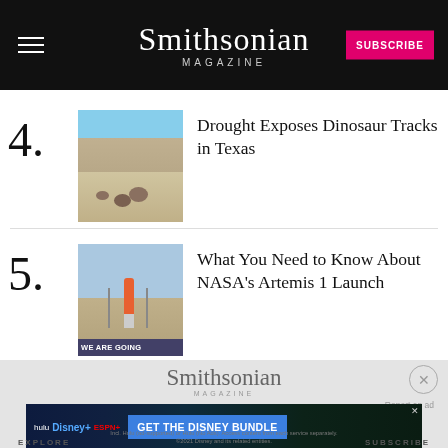Smithsonian Magazine
4. Drought Exposes Dinosaur Tracks in Texas
5. What You Need to Know About NASA's Artemis 1 Launch
[Figure (logo): Smithsonian Magazine logo in bottom ad area]
[Figure (infographic): Disney Bundle advertisement banner: hulu, Disney+, ESPN+ - GET THE DISNEY BUNDLE. Incl. Hulu (ad-supported) or Hulu (No Ads). Access content from each service separately. ©2021 Disney and its related entities.]
EXPLORE    SUBSCRIBE